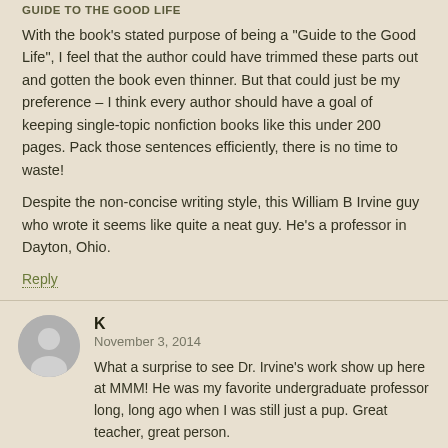GUIDE TO THE GOOD LIFE
With the book's stated purpose of being a "Guide to the Good Life", I feel that the author could have trimmed these parts out and gotten the book even thinner. But that could just be my preference – I think every author should have a goal of keeping single-topic nonfiction books like this under 200 pages. Pack those sentences efficiently, there is no time to waste!
Despite the non-concise writing style, this William B Irvine guy who wrote it seems like quite a neat guy. He's a professor in Dayton, Ohio.
Reply
K
November 3, 2014
What a surprise to see Dr. Irvine's work show up here at MMM! He was my favorite undergraduate professor long, long ago when I was still just a pup. Great teacher, great person.
Reply